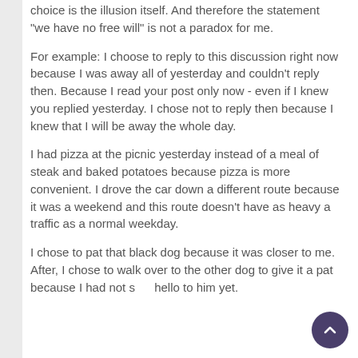choice is the illusion itself. And therefore the statement "we have no free will" is not a paradox for me.
For example: I choose to reply to this discussion right now because I was away all of yesterday and couldn't reply then. Because I read your post only now - even if I knew you replied yesterday. I chose not to reply then because I knew that I will be away the whole day.
I had pizza at the picnic yesterday instead of a meal of steak and baked potatoes because pizza is more convenient. I drove the car down a different route because it was a weekend and this route doesn't have as heavy a traffic as a normal weekday.
I chose to pat that black dog because it was closer to me. After, I chose to walk over to the other dog to give it a pat because I had not said hello to him yet.